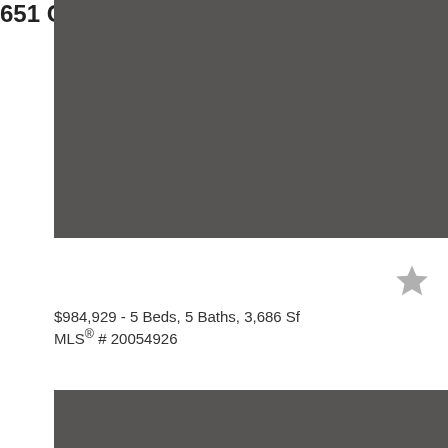[Figure (photo): Property photo placeholder – dark gray rectangle representing a home listing image]
651 Glendover Drive, Prosper
$984,929 - 5 Beds, 5 Baths, 3,686 Sf
MLS® # 20054926
[Figure (photo): Second property photo placeholder – dark gray rectangle at the bottom of the card]